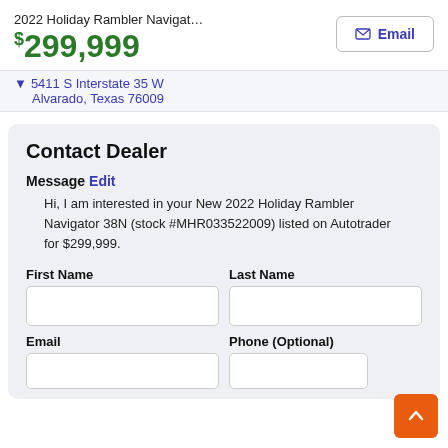2022 Holiday Rambler Navigat…
$299,999
5411 S Interstate 35 W
Alvarado, Texas 76009
Contact Dealer
Message Edit
Hi, I am interested in your New 2022 Holiday Rambler Navigator 38N (stock #MHR033522009) listed on Autotrader for $299,999.
First Name
Last Name
Email
Phone (Optional)